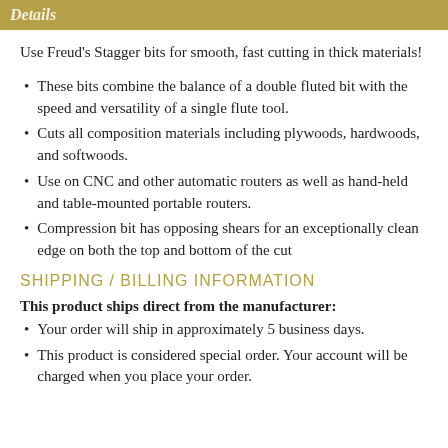Details
Use Freud's Stagger bits for smooth, fast cutting in thick materials!
These bits combine the balance of a double fluted bit with the speed and versatility of a single flute tool.
Cuts all composition materials including plywoods, hardwoods, and softwoods.
Use on CNC and other automatic routers as well as hand-held and table-mounted portable routers.
Compression bit has opposing shears for an exceptionally clean edge on both the top and bottom of the cut
SHIPPING / BILLING INFORMATION
This product ships direct from the manufacturer:
Your order will ship in approximately 5 business days.
This product is considered special order. Your account will be charged when you place your order.